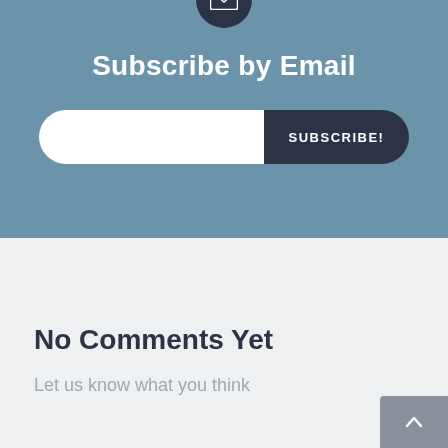[Figure (illustration): Email envelope icon inside a dark circular badge at the top of the subscribe section]
Subscribe by Email
[Figure (other): Email input field (white rounded left pill) and SUBSCRIBE! dark button (rounded right pill)]
No Comments Yet
Let us know what you think
[Figure (other): Back-to-top button (grey rounded rectangle with upward chevron arrow) in bottom-right corner]